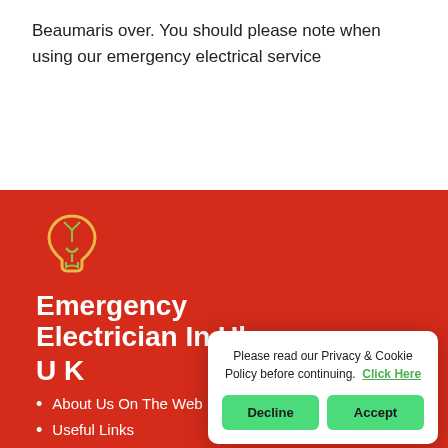Beaumaris over. You should please note when using our emergency electrical service
[Figure (logo): Lightbulb outline logo in yellow and green on red background]
Emergency Electrician In Uk
U K
About Us On The Web
Useful Links
Branches
Emergency Electrician in Beaumaris electrician services, are position
Please read our Privacy & Cookie Policy before continuing. Click Here
Decline
Accept